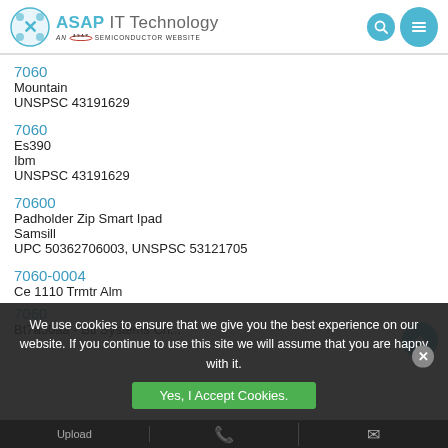ASAP IT Technology — AN A.S.A.P. SEMICONDUCTOR WEBSITE
7060
Mountain
UNSPSC 43191629
7060
Es390
Ibm
UNSPSC 43191629
70600
Padholder Zip Smart Ipad
Samsill
UPC 50362706003, UNSPSC 53121705
7060-0004
Ce 1110 Trmtr Alm
7060
Bt7a50aa - Bti Systems Ch...
We use cookies to ensure that we give you the best experience on our website. If you continue to use this site we will assume that you are happy with it.
Yes, I Accept Cookies.